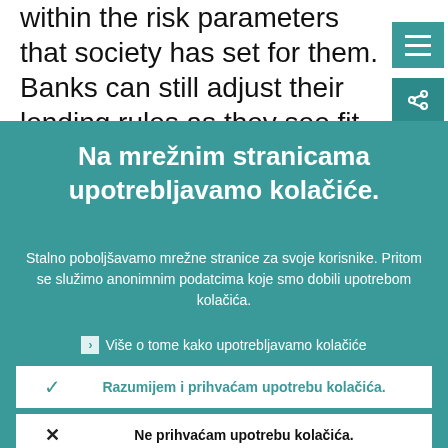within the risk parameters that society has set for them. Banks can still adjust their lending rules as they see fit, they can
Na mrežnim stranicama upotrebljavamo kolačiće.
Stalno poboljšavamo mrežne stranice za svoje korisnike. Pritom se služimo anonimnim podatcima koje smo dobili upotrebom kolačića.
Više o tome kako upotrebljavamo kolačiće
Razumijem i prihvaćam upotrebu kolačića.
Ne prihvaćam upotrebu kolačića.